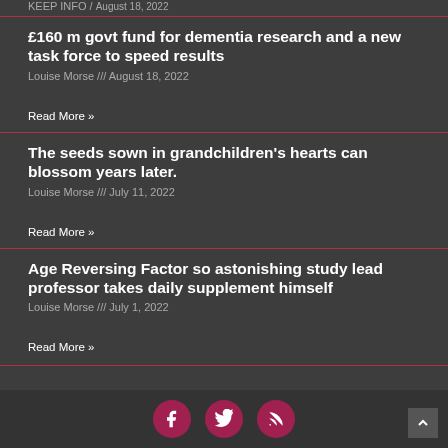KEEP INFO / August 18, 2022
£160 m govt fund for dementia research and a new task force to speed results
Louise Morse /// August 18, 2022
Read More »
The seeds sown in grandchildren's hearts can blossom years later.
Louise Morse /// July 11, 2022
Read More »
Age Reversing Factor so astonishing study lead professor takes daily supplement himself
Louise Morse /// July 1, 2022
Read More »
[Figure (illustration): Social media icons: Facebook, Twitter, RSS feed in dark pink/crimson circular buttons at page footer]